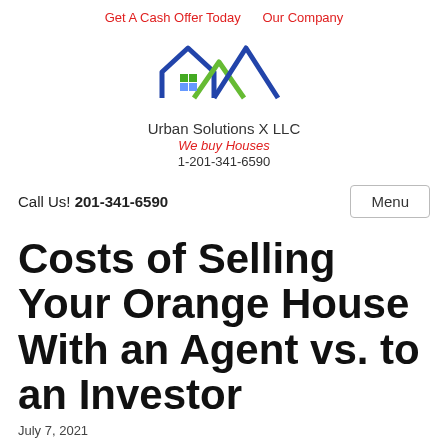Get A Cash Offer Today   Our Company
[Figure (logo): Urban Solutions X LLC logo with blue and green house/mountain icon above company name, tagline 'We buy Houses', and phone number 1-201-341-6590]
Call Us! 201-341-6590
Costs of Selling Your Orange House With an Agent vs. to an Investor
July 7, 2021